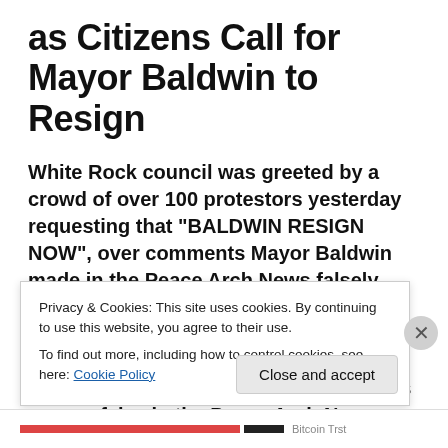as Citizens Call for Mayor Baldwin to Resign
White Rock council was greeted by a crowd of over 100 protestors yesterday requesting that “BALDWIN RESIGN NOW”, over comments Mayor Baldwin made in the Peace Arch News falsely stating that White Rock was legally obligated by the Regional Growth Strategy to absorb 7,000 new residents in the coming years. This statement was proven false in the Peace Arch Now which quoted numerous sources including
Privacy & Cookies: This site uses cookies. By continuing to use this website, you agree to their use.
To find out more, including how to control cookies, see here: Cookie Policy